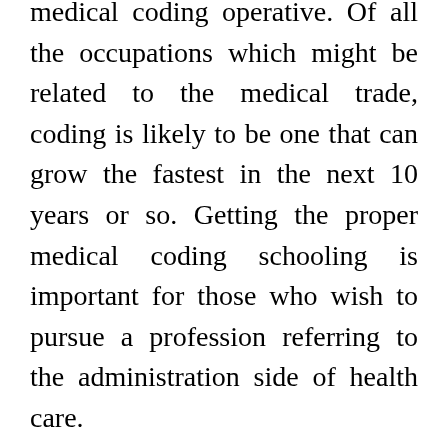medical coding operative. Of all the occupations which might be related to the medical trade, coding is likely to be one that can grow the fastest in the next 10 years or so. Getting the proper medical coding schooling is important for those who wish to pursue a profession referring to the administration side of health care.
I didn't go to a public college, thank god, I went to a non-public faculty, paid for by the onerous work of my dad and mom. We've by no means been rich, however